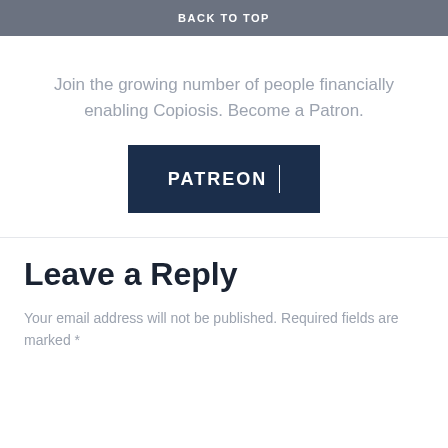BACK TO TOP
Join the growing number of people financially enabling Copiosis. Become a Patron.
[Figure (logo): Patreon button logo with white text 'PATREON' and a vertical divider on dark navy background]
Leave a Reply
Your email address will not be published. Required fields are marked *